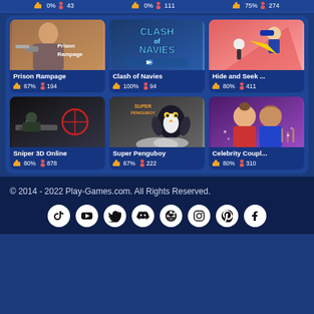[Figure (screenshot): Top partial row of game cards showing 0%, 43, 0%, 111, 75%, 274]
[Figure (screenshot): Grid of 6 game cards: Prison Rampage (67%, 194), Clash of Navies (100%, 94), Hide and Seek... (80%, 411), Sniper 3D Online (80%, 878), Super Penguboy (67%, 222), Celebrity Coupl... (80%, 310)]
© 2014 - 2022 Play-Games.com. All Rights Reserved.
[Figure (infographic): Social media icons row: TikTok, YouTube, Twitter, Discord, Reddit, Instagram, Pinterest, Facebook]